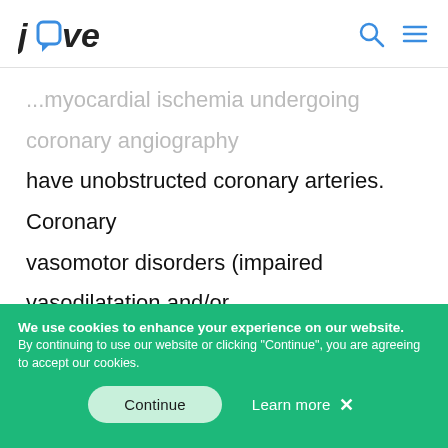jove
...myocardial ischemia undergoing coronary angiography have unobstructed coronary arteries. Coronary vasomotor disorders (impaired vasodilatation and/or enhanced vasoconstriction/spasm) represent important functional causes for such a clinical presentation. Although impaired vasodilatation may be assessed with non-invasive techniques such as positron emission tomography or cardiac magnetic
We use cookies to enhance your experience on our website. By continuing to use our website or clicking "Continue", you are agreeing to accept our cookies.
Continue   Learn more ✕